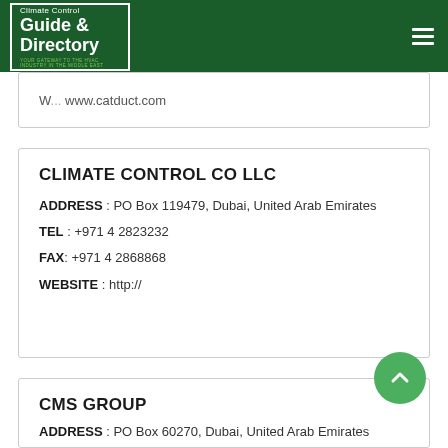Climate Control Guide & Directory
W... www.catduct.com
CLIMATE CONTROL CO LLC
ADDRESS : PO Box 119479, Dubai, United Arab Emirates
TEL : +971 4 2823232
FAX: +971 4 2868868
WEBSITE : http://
CMS GROUP
ADDRESS : PO Box 60270, Dubai, United Arab Emirates